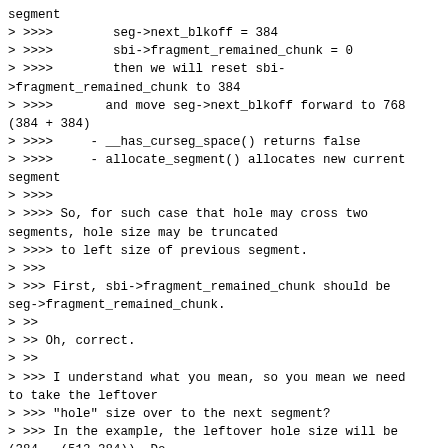segment
> >>>>        seg->next_blkoff = 384
> >>>>        sbi->fragment_remained_chunk = 0
> >>>>        then we will reset sbi->fragment_remained_chunk to 384
> >>>>       and move seg->next_blkoff forward to 768 (384 + 384)
> >>>>     - __has_curseg_space() returns false
> >>>>     - allocate_segment() allocates new current segment
> >>>>
> >>>> So, for such case that hole may cross two segments, hole size may be truncated
> >>>> to left size of previous segment.
> >>>
> >>> First, sbi->fragment_remained_chunk should be seg->fragment_remained_chunk.
> >>
> >> Oh, correct.
> >>
> >>> I understand what you mean, so you mean we need to take the leftover
> >>> "hole" size over to the next segment?
> >>> In the example, the leftover hole size will be (384 - (512-384)). Do
> >>> you want to take this over to the next segment?
> >>
> >> Yes, the left 256 block-sized hole should be created before next chunk
> >> in next opened segment.